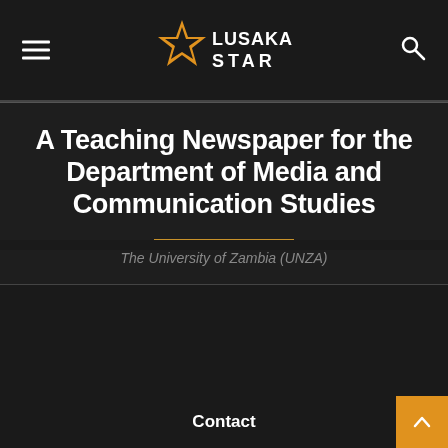Lusaka Star
A Teaching Newspaper for the Department of Media and Communication Studies
The University of Zambia (UNZA)
Contact